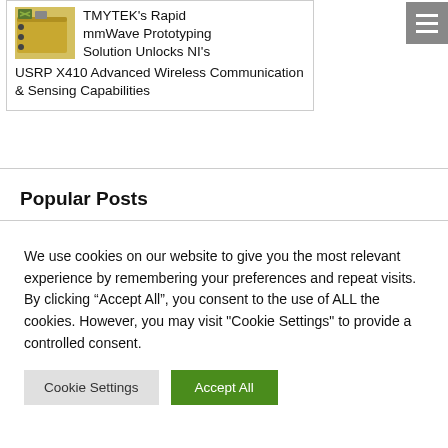[Figure (photo): Small hardware device (mmWave module, golden/yellow color with connectors) next to article headline text]
TMYTEK's Rapid mmWave Prototyping Solution Unlocks NI's USRP X410 Advanced Wireless Communication & Sensing Capabilities
Popular Posts
We use cookies on our website to give you the most relevant experience by remembering your preferences and repeat visits. By clicking “Accept All”, you consent to the use of ALL the cookies. However, you may visit "Cookie Settings" to provide a controlled consent.